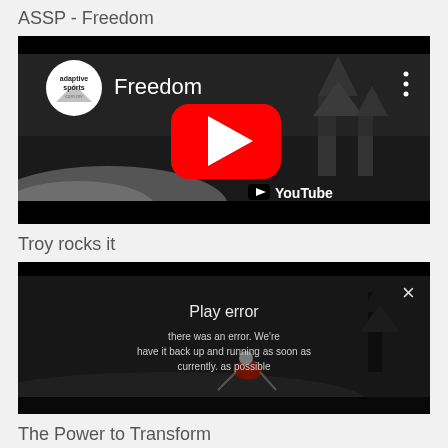ASSP - Freedom
[Figure (screenshot): YouTube video thumbnail for 'Freedom' by adaptive sports channel, showing a snowboarder on a snowy slope with YouTube play button overlay]
Troy rocks it
[Figure (screenshot): Video thumbnail showing a snowboarder in red jacket on a snowy slope with an error/play message overlay and X close button]
The Power to Transform
[Figure (screenshot): Partial video thumbnail at bottom of page, dark image]